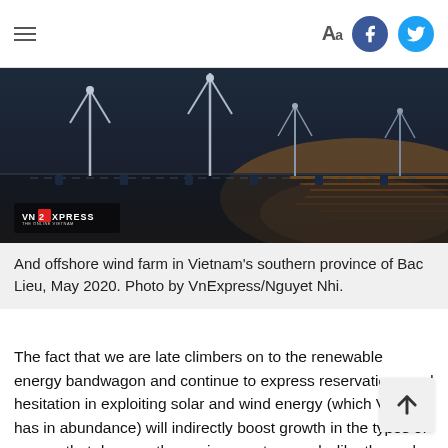Aa [Facebook] [Twitter]
[Figure (photo): Offshore wind farm in Vietnam's southern province of Bac Lieu, May 2020. Wind turbines on the water with sunset light reflection. VnExpress logo visible in lower left.]
And offshore wind farm in Vietnam's southern province of Bac Lieu, May 2020. Photo by VnExpress/Nguyet Nhi.
The fact that we are late climbers on to the renewable energy bandwagon and continue to express reservations and hesitation in exploiting solar and wind energy (which Vietnam has in abundance) will indirectly boost growth in the types of energy that damage the environment severely, like thermal and hydropower plants.
In central Vietnam, the Ho Ho hydropower plant